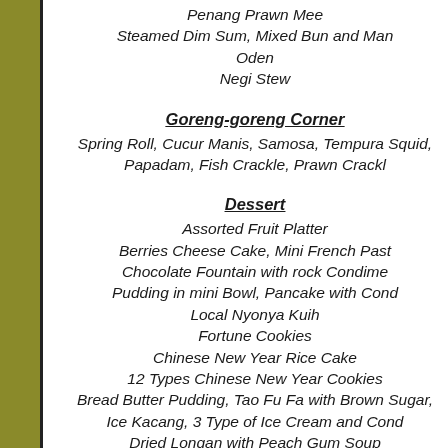Penang Prawn Mee
Steamed Dim Sum, Mixed Bun and Man
Oden
Negi Stew
Goreng-goreng Corner
Spring Roll, Cucur Manis, Samosa, Tempura Squid,
Papadam, Fish Crackle, Prawn Crackl
Dessert
Assorted Fruit Platter
Berries Cheese Cake, Mini French Past
Chocolate Fountain with rock Condime
Pudding in mini Bowl, Pancake with Cond
Local Nyonya Kuih
Fortune Cookies
Chinese New Year Rice Cake
12 Types Chinese New Year Cookies
Bread Butter Pudding, Tao Fu Fa with Brown Sugar,
Ice Kacang, 3 Type of Ice Cream and Cond
Dried Longan with Peach Gum Soup